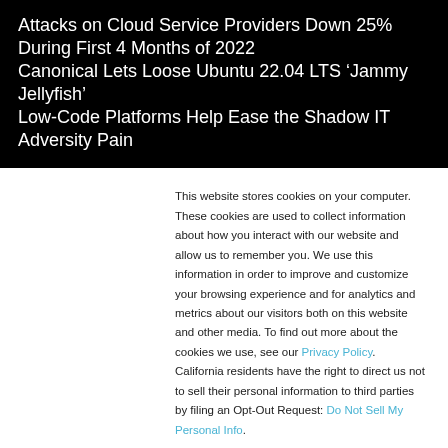Attacks on Cloud Service Providers Down 25% During First 4 Months of 2022
Canonical Lets Loose Ubuntu 22.04 LTS ‘Jammy Jellyfish’
Low-Code Platforms Help Ease the Shadow IT Adversity Pain
This website stores cookies on your computer. These cookies are used to collect information about how you interact with our website and allow us to remember you. We use this information in order to improve and customize your browsing experience and for analytics and metrics about our visitors both on this website and other media. To find out more about the cookies we use, see our Privacy Policy. California residents have the right to direct us not to sell their personal information to third parties by filing an Opt-Out Request: Do Not Sell My Personal Info.
Accept